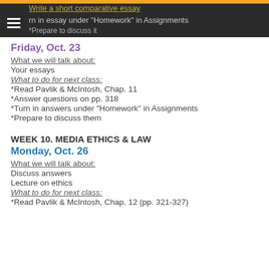Write a short comparative essay / Turn in essay under "Homework" in Assignments / *Prepare to discuss it
Friday, Oct. 23
What we will talk about:
Your essays
What to do for next class:
*Read Pavlik & McIntosh, Chap. 11
*Answer questions on pp. 318
*Turn in answers under "Homework" in Assignments
*Prepare to discuss them
WEEK 10. MEDIA ETHICS & LAW
Monday, Oct. 26
What we will talk about:
Discuss answers
Lecture on ethics
What to do for next class:
*Read Pavlik & McIntosh, Chap. 12 (pp. 321-327)